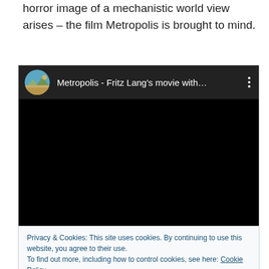horror image of a mechanistic world view arises – the film Metropolis is brought to mind.
[Figure (screenshot): Embedded YouTube video player showing 'Metropolis - Fritz Lang's movie with...' with a black video frame and a circular thumbnail avatar on the left. A three-dot menu icon appears on the right.]
Privacy & Cookies: This site uses cookies. By continuing to use this website, you agree to their use.
To find out more, including how to control cookies, see here: Cookie Policy
Close and accept
...